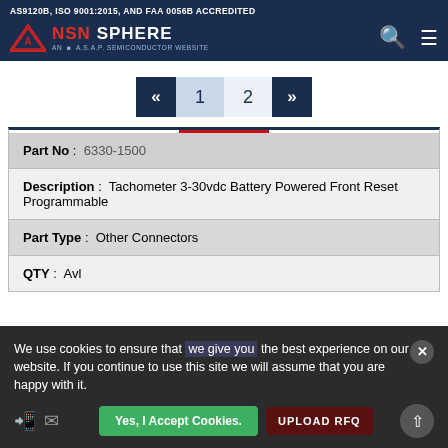AS9120B, ISO 9001:2015, AND FAA 0056B ACCREDITED — NSN SPHERE, AN A.S.A.P. SEMICONDUCTOR WEBSITE
Pagination: « 1 2 »
| Field | Value |
| --- | --- |
| Part No | 6330-1500 |
| Description | Tachometer 3-30vdc Battery Powered Front Reset Programmable |
| Part Type | Other Connectors |
| QTY | Avl |
We use cookies to ensure that we give you the best experience on our website. If you continue to use this site we will assume that you are happy with it.
Yes, I Accept Cookies.   UPLOAD RFQ